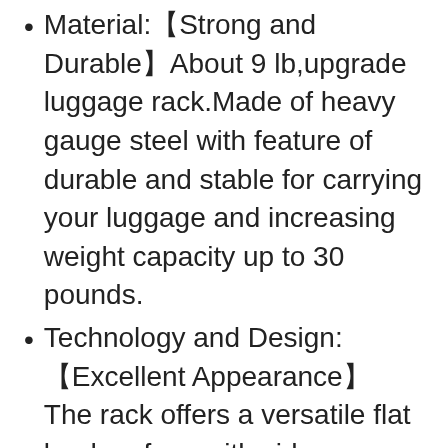Material:【Strong and Durable】About 9 lb,upgrade luggage rack.Made of heavy gauge steel with feature of durable and stable for carrying your luggage and increasing weight capacity up to 30 pounds.
Technology and Design:【Excellent Appearance】 The rack offers a versatile flat load surface with side extensions.Designed to work with or without Detachables passenger backrest.Welded and perfectly polished for an elegant look.
Easy Installation:【Quick Install and Remove】The luggage rack can be installed...